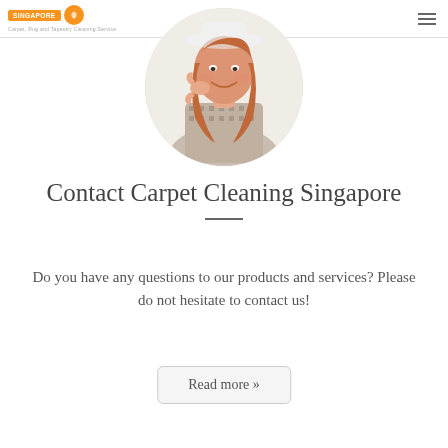Carpet Cleaning Singapore — Carpet, Rug and Tapestry Cleaning Service
[Figure (photo): Circular photo of a smiling woman with red-brown hair, making a phone-call gesture with her hand, wearing a patterned top and a white hat. Background is white.]
Contact Carpet Cleaning Singapore
Do you have any questions to our products and services? Please do not hesitate to contact us!
Read more »